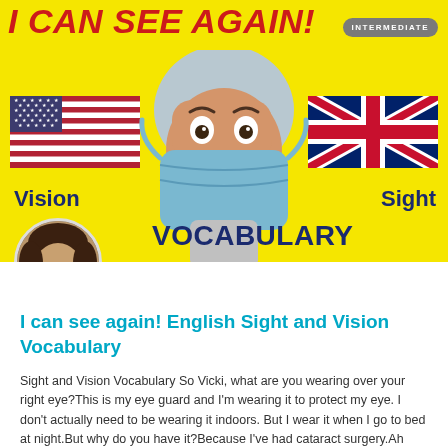[Figure (illustration): Yellow banner with red italic title 'I CAN SEE AGAIN!', an 'INTERMEDIATE' badge, US and UK flags on either side, a person in medical mask and hair cap in the center, text labels 'Vision', 'Sight', 'VOCABULARY', and a circular author photo.]
I can see again! English Sight and Vision Vocabulary
Sight and Vision Vocabulary So Vicki, what are you wearing over your right eye?This is my eye guard and I'm wearing it to protect my eye. I don't actually need to be wearing it indoors. But I wear it when I go to bed at night.But why do you have it?Because I've had cataract surgery.Ah We're looking at words about sight and